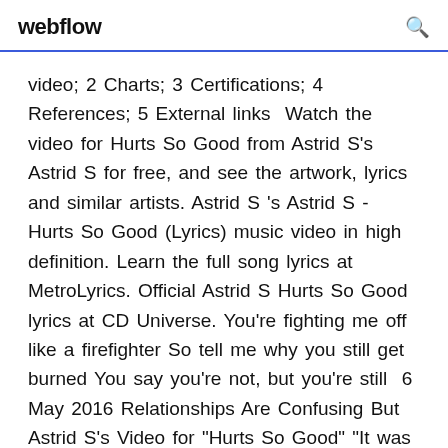webflow
video; 2 Charts; 3 Certifications; 4 References; 5 External links  Watch the video for Hurts So Good from Astrid S's Astrid S for free, and see the artwork, lyrics and similar artists. Astrid S 's Astrid S - Hurts So Good (Lyrics) music video in high definition. Learn the full song lyrics at MetroLyrics. Official Astrid S Hurts So Good lyrics at CD Universe. You're fighting me off like a firefighter So tell me why you still get burned You say you're not, but you're still  6 May 2016 Relationships Are Confusing But Astrid S's Video for "Hurts So Good" "It was a very cool experience to shoot this music video," she explains.